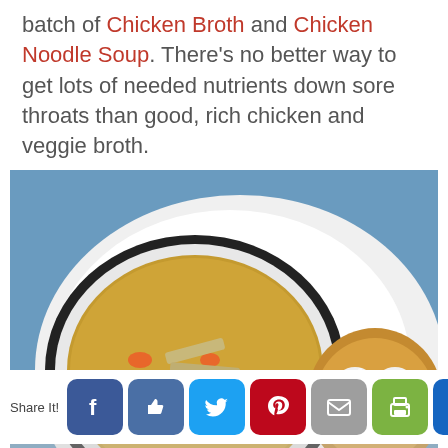batch of Chicken Broth and Chicken Noodle Soup. There’s no better way to get lots of needed nutrients down sore throats than good, rich chicken and veggie broth.
[Figure (photo): Overhead photo of a bowl of chicken noodle soup with carrots and noodles on a white plate, alongside a soft pretzel, set on a blue background.]
Share It!
[Figure (infographic): Social sharing button bar with icons for Facebook, Like, Twitter, Pinterest, Email, Print, and a crown/save button.]